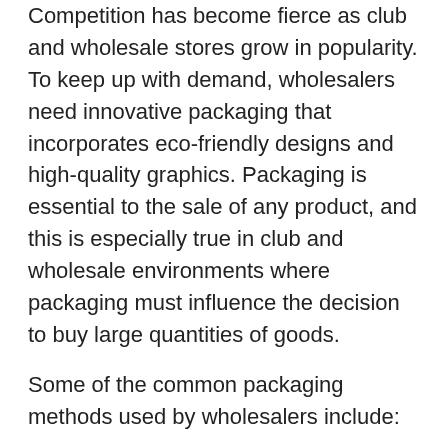Competition has become fierce as club and wholesale stores grow in popularity. To keep up with demand, wholesalers need innovative packaging that incorporates eco-friendly designs and high-quality graphics. Packaging is essential to the sale of any product, and this is especially true in club and wholesale environments where packaging must influence the decision to buy large quantities of goods.
Some of the common packaging methods used by wholesalers include:
Point-of-purchase (POP) displays. POP displays are strategically placed near the registers to encourage last-minute impulse purchases.